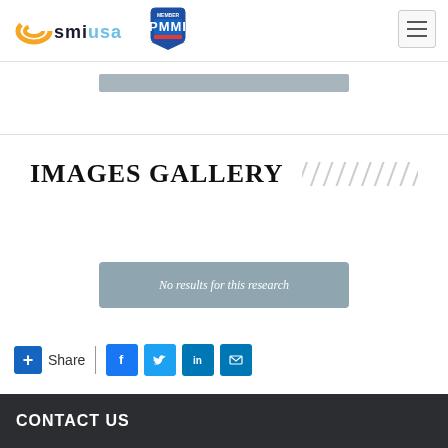[Figure (logo): SMI USA logo with orange swirl and 'smiusa' text, plus PMMI Member badge logo]
[Figure (other): Gray rounded rectangle search bar at top]
IMAGES GALLERY
[Figure (other): Gray rounded rectangle button with text 'No results for this research']
+ Share | Facebook Twitter LinkedIn Email
CONTACT US